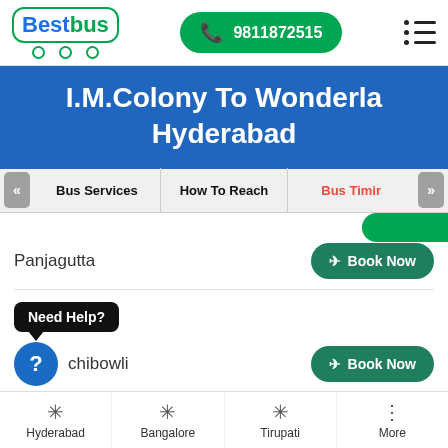[Figure (logo): BestBus logo with green bus icon and wheels]
9811872515
I.M.Colony To Wonderla Hyderabad
Bus Services | How To Reach | Bus Timir
Panjagutta
Book Now
Need Help?
chibowli
Book Now
Hyderabad
Bangalore
Tirupati
More